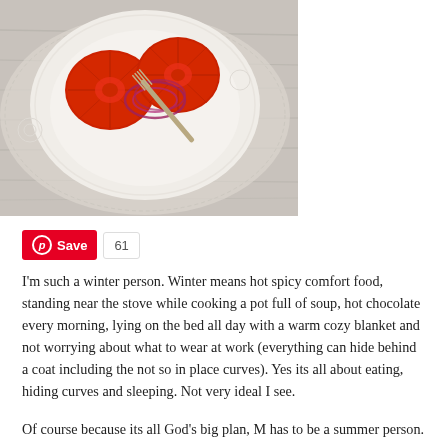[Figure (photo): Overhead photo of a white decorative plate/bowl with sliced red tomatoes and red onion rings, with a fork resting on the plate, on a light grey wooden surface]
Save  61
I'm such a winter person. Winter means hot spicy comfort food, standing near the stove while cooking a pot full of soup, hot chocolate every morning, lying on the bed all day with a warm cozy blanket and not worrying about what to wear at work (everything can hide behind a coat including the not so in place curves). Yes its all about eating, hiding curves and sleeping. Not very ideal I see.
Of course because its all God's big plan, M has to be a summer person.